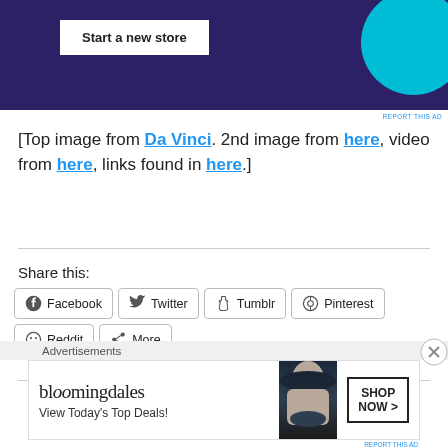[Figure (screenshot): Advertisement banner with dark purple background showing 'Start a new store' button and teal circle decoration]
[Top image from Da Vinci. 2nd image from here, video from here, links found in here.]
Share this:
[Figure (infographic): Social share buttons row: Facebook, Twitter, Tumblr, Pinterest, Reddit, More]
[Figure (screenshot): Bloomingdales advertisement: bloomingdales logo, View Today's Top Deals!, woman with hat, SHOP NOW button]